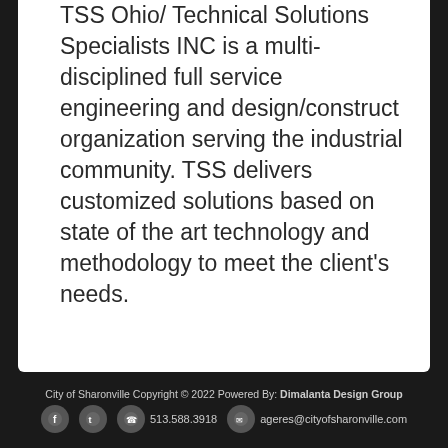TSS Ohio/ Technical Solutions Specialists INC is a multi-disciplined full service engineering and design/construct organization serving the industrial community. TSS delivers customized solutions based on state of the art technology and methodology to meet the client's needs.
City of Sharonville Copyright © 2022 Powered By: Dimalanta Design Group
513.588.3918   ageres@cityofsharonville.com